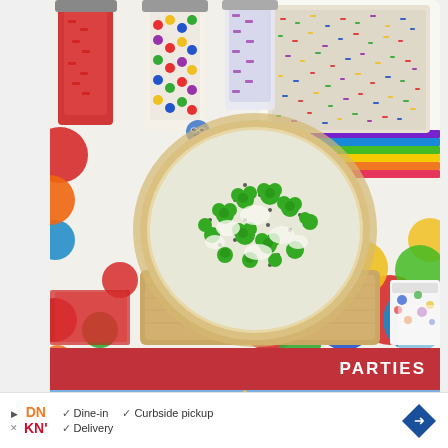[Figure (photo): Colorful party table setup with a broccoli pizza on a wooden cutting board, candy jars, Inside Out character figurines, popcorn with rainbow sprinkles in a white bowl, polka dot tablecloth, and colorful paper cups.]
PARTIES
[Figure (photo): Partial view of a blue background with a cone/hat shape visible at the top.]
Dine-in  Curbside pickup  Delivery